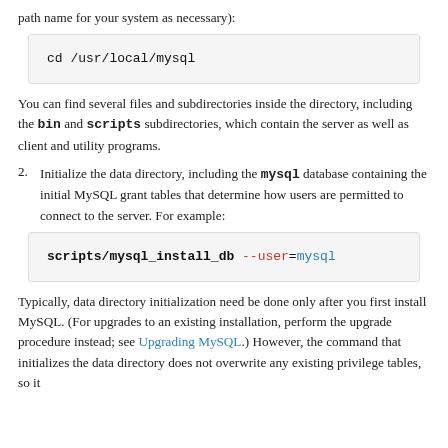path name for your system as necessary):
cd /usr/local/mysql
You can find several files and subdirectories inside the directory, including the bin and scripts subdirectories, which contain the server as well as client and utility programs.
2. Initialize the data directory, including the mysql database containing the initial MySQL grant tables that determine how users are permitted to connect to the server. For example:
scripts/mysql_install_db --user=mysql
Typically, data directory initialization need be done only after you first install MySQL. (For upgrades to an existing installation, perform the upgrade procedure instead; see Upgrading MySQL.) However, the command that initializes the data directory does not overwrite any existing privilege tables, so it